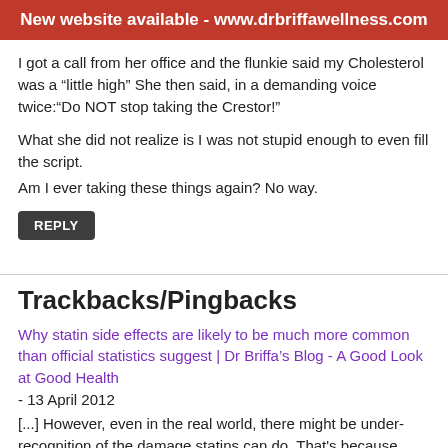New website available - www.drbriffawellness.com
I got a call from her office and the flunkie said my Cholesterol was a “little high” She then said, in a demanding voice twice:“Do NOT stop taking the Crestor!”
What she did not realize is I was not stupid enough to even fill the script.
Am I ever taking these things again? No way.
REPLY
Trackbacks/Pingbacks
Why statin side effects are likely to be much more common than official statistics suggest | Dr Briffa’s Blog - A Good Look at Good Health - 13 April 2012
[...] However, even in the real world, there might be under-recognition of the damage statins can do. That's because, quite often, doctors will dismiss the idea that statins might be the cause for someone's symptoms, even when scientific evidence supports such as link. For more on this, see here. [...]